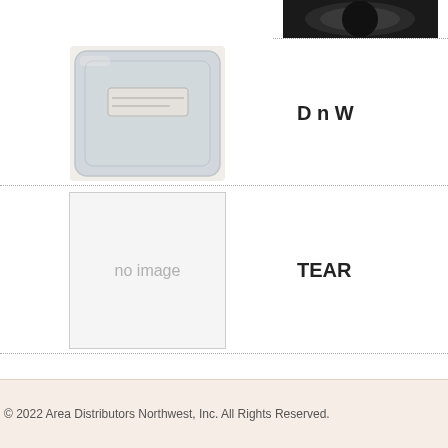[Figure (photo): Partial view of a product (lid) at the top of the page, cropped]
[Figure (photo): Clear plastic square container lid with a label sticker on top]
D n W
[Figure (photo): No image placeholder box with text 'no image']
TEAR
[Figure (photo): 24oz clear deli container with fresh salad ingredients including tomatoes and greens]
24OZ
© 2022 Area Distributors Northwest, Inc. All Rights Reserved.